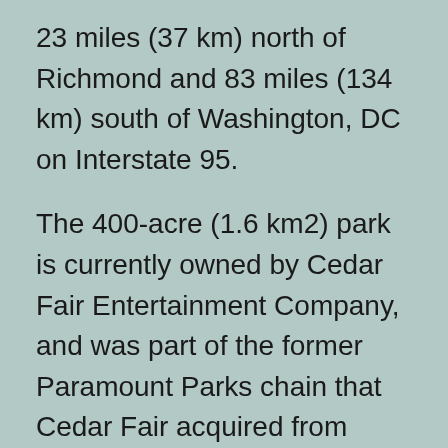23 miles (37 km) north of Richmond and 83 miles (134 km) south of Washington, DC on Interstate 95.
The 400-acre (1.6 km2) park is currently owned by Cedar Fair Entertainment Company, and was part of the former Paramount Parks chain that Cedar Fair acquired from CBS Corporation on June 30, 2006. The park was named after its sister park, Kings Island in Kings Mills, Ohio, which opened in 1972. Both parks were originally built and owned by Kings Entertainment Company aka KECO. While Kings Island was named as a combination of